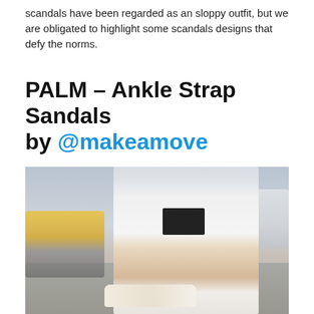scandals have been regarded as an sloppy outfit, but we are obligated to highlight some scandals designs that defy the norms.
PALM - Ankle Strap Sandals by @makeamove
[Figure (photo): Street style photo of a woman wearing a white bodycon dress, light blue denim jacket, and ankle strap sandals with a black quilted crossbody bag, leaning against a street pole on a city sidewalk with a yellow scooter on the left and a car on the right.]